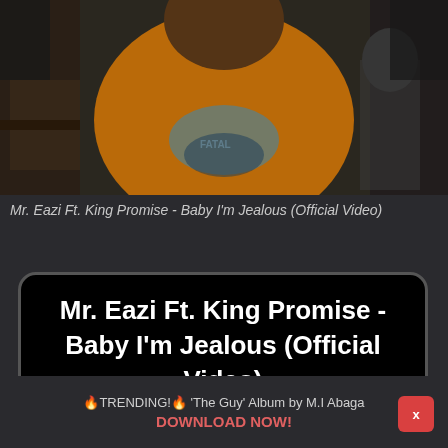[Figure (photo): Video thumbnail showing a person wearing an orange graphic t-shirt, blurred background with room/office setting]
Mr. Eazi Ft. King Promise - Baby I'm Jealous (Official Video)
Mr. Eazi Ft. King Promise - Baby I'm Jealous (Official Video)
🔥TRENDING!🔥 'The Guy' Album by M.I Abaga
DOWNLOAD NOW!